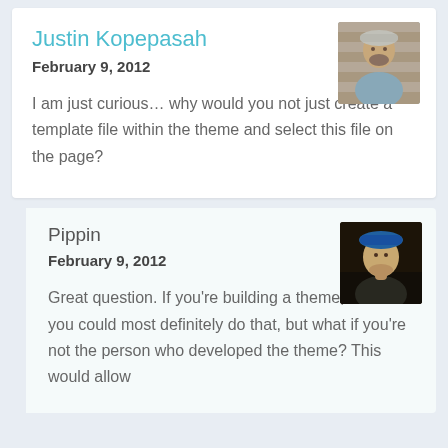Justin Kopepasah
February 9, 2012
I am just curious… why would you not just create a template file within the theme and select this file on the page?
[Figure (photo): Avatar photo of Justin Kopepasah, a man with beard wearing a grey hat, against a brick wall background]
Pippin
February 9, 2012
Great question. If you're building a theme, then you could most definitely do that, but what if you're not the person who developed the theme? This would allow
[Figure (photo): Avatar photo of Pippin, a person wearing a blue hat, dark background]